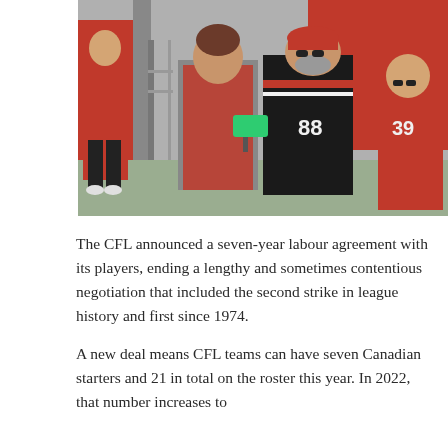[Figure (photo): Outdoor scene showing a stadium gate area. A staff member in a red vest uses a handheld scanner device with a fan wearing a black CFL jersey with number 88 and a red cap. In the background, another person in a red jersey and a woman in a red CFL jersey with number 39 are visible. Red building structures and fencing are visible in the background.]
The CFL announced a seven-year labour agreement with its players, ending a lengthy and sometimes contentious negotiation that included the second strike in league history and first since 1974.
A new deal means CFL teams can have seven Canadian starters and 21 in total on the roster this year. In 2022, that number increases to